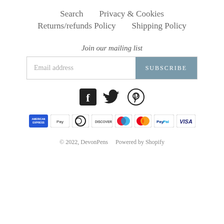Search
Privacy & Cookies
Returns/refunds Policy
Shipping Policy
Join our mailing list
Email address  SUBSCRIBE
[Figure (other): Social media icons: Facebook, Twitter, Pinterest]
[Figure (other): Payment method icons: American Express, Apple Pay, Diners Club, Discover, Maestro, Mastercard, PayPal, Visa]
© 2022, DevonPens   Powered by Shopify